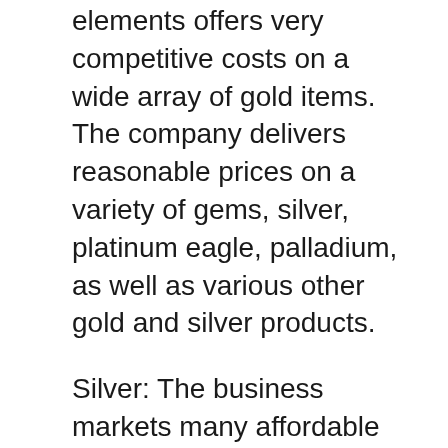elements offers very competitive costs on a wide array of gold items. The company delivers reasonable prices on a variety of gems, silver, platinum eagle, palladium, as well as various other gold and silver products.
Silver: The business markets many affordable silver items. A number of the absolute most preferred choices consist of silver bullets, knapsacks, wedding celebration sets, as well as fashion jewelry. Gold gold, silver clubs, and also pieces are also available for purchase. Regardless of what sort of metal you select, there will certainly be an economical solution. There are no annual expenses connected with possessing Augusta Valuable Metals.